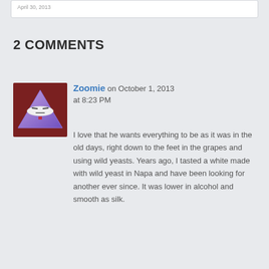April 30, 2013
2 COMMENTS
[Figure (illustration): Avatar image of a cartoon purple triangle with a grumpy face, wearing a bowl-like hat, set against a reddish-brown background]
Zoomie on October 1, 2013 at 8:23 PM
I love that he wants everything to be as it was in the old days, right down to the feet in the grapes and using wild yeasts. Years ago, I tasted a white made with wild yeast in Napa and have been looking for another ever since. It was lower in alcohol and smooth as silk.